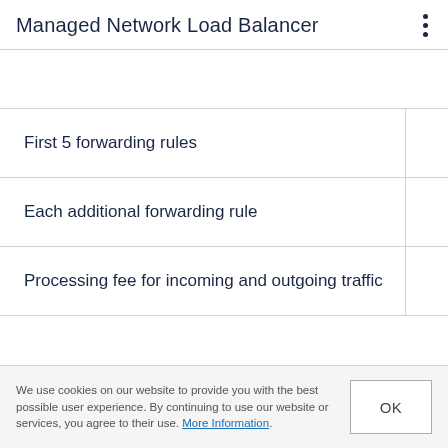Managed Network Load Balancer
First 5 forwarding rules
Each additional forwarding rule
Processing fee for incoming and outgoing traffic
We use cookies on our website to provide you with the best possible user experience. By continuing to use our website or services, you agree to their use. More Information.